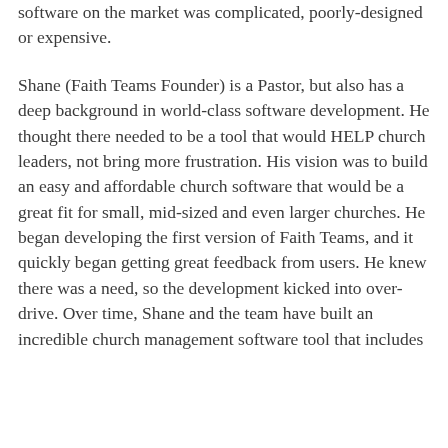software on the market was complicated, poorly-designed or expensive.
Shane (Faith Teams Founder) is a Pastor, but also has a deep background in world-class software development. He thought there needed to be a tool that would HELP church leaders, not bring more frustration. His vision was to build an easy and affordable church software that would be a great fit for small, mid-sized and even larger churches. He began developing the first version of Faith Teams, and it quickly began getting great feedback from users. He knew there was a need, so the development kicked into over-drive. Over time, Shane and the team have built an incredible church management software tool that includes